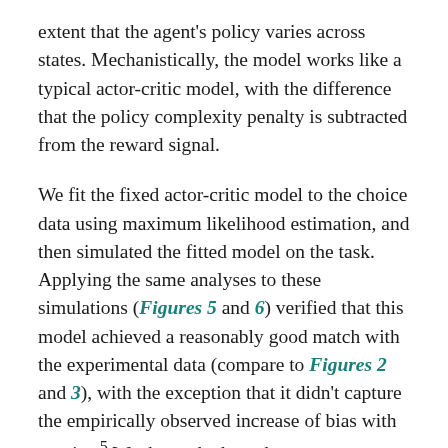extent that the agent's policy varies across states. Mechanistically, the model works like a typical actor-critic model, with the difference that the policy complexity penalty is subtracted from the reward signal.
We fit the fixed actor-critic model to the choice data using maximum likelihood estimation, and then simulated the fitted model on the task. Applying the same analyses to these simulations (Figures 5 and 6) verified that this model achieved a reasonably good match with the experimental data (compare to Figures 2 and 3), with the exception that it didn't capture the empirically observed increase of bias with set size.5 We then asked to what extent different parameters